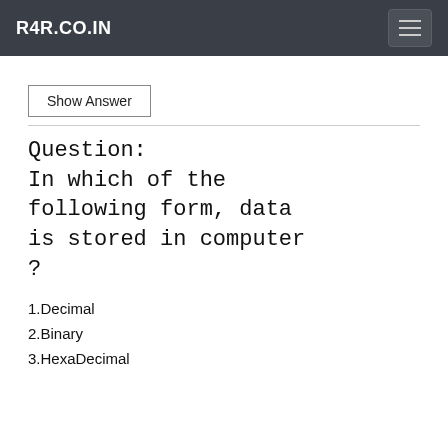R4R.CO.IN
Show Answer
Question:
In which of the following form, data is stored in computer ?
1.Decimal
2.Binary
3.HexaDecimal